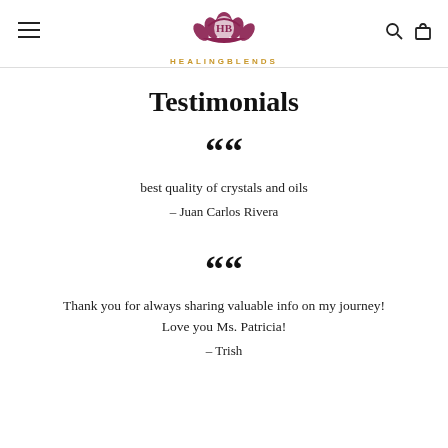HEALINGBLENDS
Testimonials
““ best quality of crystals and oils – Juan Carlos Rivera
““ Thank you for always sharing valuable info on my journey! Love you Ms. Patricia! – Trish